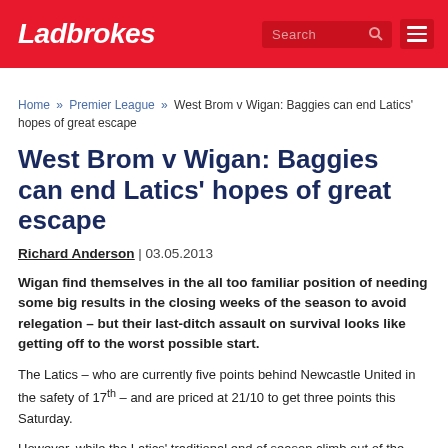Ladbrokes
Home » Premier League » West Brom v Wigan: Baggies can end Latics' hopes of great escape
West Brom v Wigan: Baggies can end Latics' hopes of great escape
Richard Anderson | 03.05.2013
Wigan find themselves in the all too familiar position of needing some big results in the closing weeks of the season to avoid relegation – but their last-ditch assault on survival looks like getting off to the worst possible start.
The Latics – who are currently five points behind Newcastle United in the safety of 17th – and are priced at 21/10 to get three points this Saturday.
However, while the Latics' traditional end of season climb out of the danger zone could lead punters to back the north west side, a smarter bet is to back the Baggies at a pretty decent 5/4.
Steve Clarke's men have enjoyed a good run of form in recent matches and